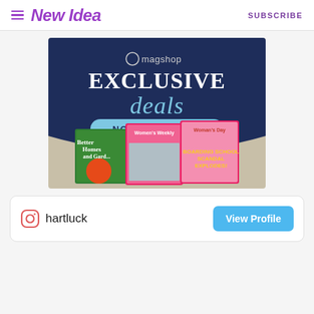New Idea  SUBSCRIBE
[Figure (illustration): Magshop exclusive deals advertisement banner showing magazine covers for Better Homes and Gardens, Women's Weekly, and Woman's Day. Text reads: magshop EXCLUSIVE deals NOW AVAILABLE]
hartluck  View Profile